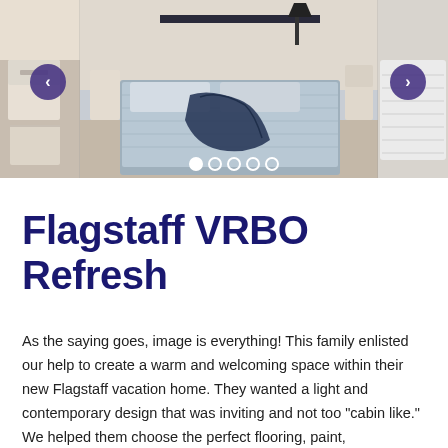[Figure (photo): Carousel of bedroom photos showing a neatly made bed with grey/blue bedding, white nightstands, and modern furnishings. Navigation arrows on left and right, five pagination dots at bottom with first dot filled.]
Flagstaff VRBO Refresh
As the saying goes, image is everything! This family enlisted our help to create a warm and welcoming space within their new Flagstaff vacation home. They wanted a light and contemporary design that was inviting and not too "cabin like." We helped them choose the perfect flooring, paint,